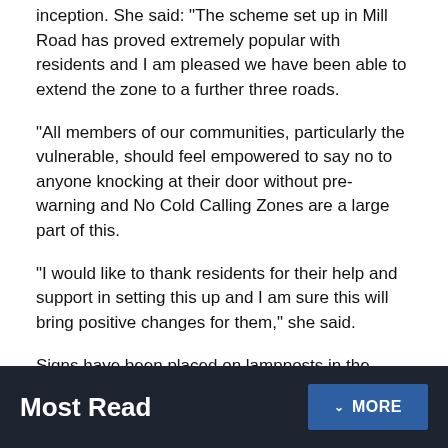inception. She said: "The scheme set up in Mill Road has proved extremely popular with residents and I am pleased we have been able to extend the zone to a further three roads.
"All members of our communities, particularly the vulnerable, should feel empowered to say no to anyone knocking at their door without pre-warning and No Cold Calling Zones are a large part of this.
"I would like to thank residents for their help and support in setting this up and I am sure this will bring positive changes for them," she said.
Signs have been placed on lampposts in the streets to deter rogue traders and doorstep sellers from entering the area.
Most Read